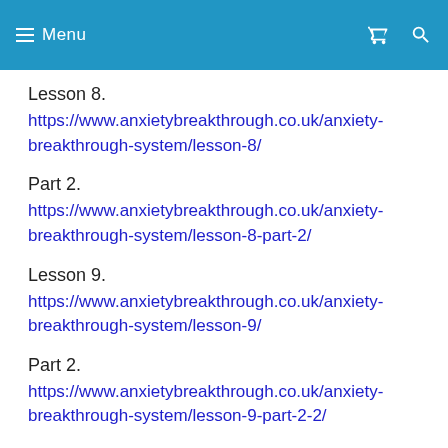Menu
Lesson 8.
https://www.anxietybreakthrough.co.uk/anxiety-breakthrough-system/lesson-8/
Part 2.
https://www.anxietybreakthrough.co.uk/anxiety-breakthrough-system/lesson-8-part-2/
Lesson 9.
https://www.anxietybreakthrough.co.uk/anxiety-breakthrough-system/lesson-9/
Part 2.
https://www.anxietybreakthrough.co.uk/anxiety-breakthrough-system/lesson-9-part-2-2/